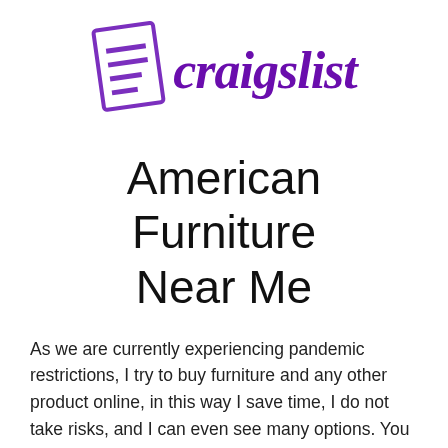[Figure (logo): Craigslist logo with purple document/page icon on the left and the word 'craigslist' in purple bold italic serif font on the right]
American Furniture Near Me
As we are currently experiencing pandemic restrictions, I try to buy furniture and any other product online, in this way I save time, I do not take risks, and I can even see many options. You may be unfamiliar with the area or not really sure where to look to find the best stores. By using our